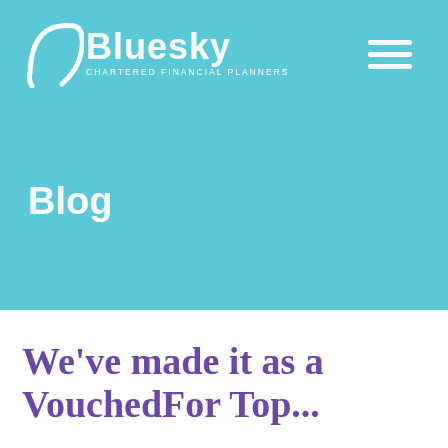[Figure (logo): Bluesky Chartered Financial Planners logo with white arc/crescent symbol and white text on teal background]
Blog
We've made it as a VouchedFor Top...